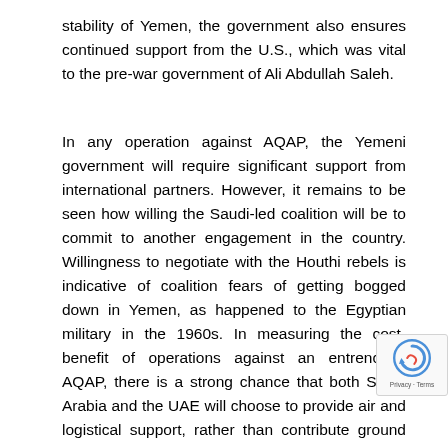stability of Yemen, the government also ensures continued support from the U.S., which was vital to the pre-war government of Ali Abdullah Saleh.
In any operation against AQAP, the Yemeni government will require significant support from international partners. However, it remains to be seen how willing the Saudi-led coalition will be to commit to another engagement in the country. Willingness to negotiate with the Houthi rebels is indicative of coalition fears of getting bogged down in Yemen, as happened to the Egyptian military in the 1960s. In measuring the cost-benefit of operations against an entrenched AQAP, there is a strong chance that both Saudi Arabia and the UAE will choose to provide air and logistical support, rather than contribute ground forces. The United States, too, will undoubtedly continue providing logistical and air support to the Yemeni government, but it is unlikely that the U.S. will provide ground troops—outside of a periodic deployment of Special Operations Forces (SOF)